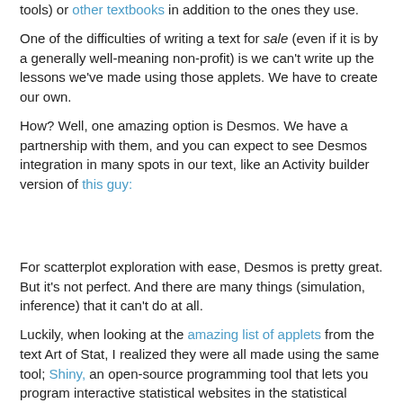tools) or other textbooks in addition to the ones they use.
One of the difficulties of writing a text for sale (even if it is by a generally well-meaning non-profit) is we can't write up the lessons we've made using those applets. We have to create our own.
How? Well, one amazing option is Desmos. We have a partnership with them, and you can expect to see Desmos integration in many spots in our text, like an Activity builder version of this guy:
For scatterplot exploration with ease, Desmos is pretty great. But it's not perfect. And there are many things (simulation, inference) that it can't do at all.
Luckily, when looking at the amazing list of applets from the text Art of Stat, I realized they were all made using the same tool; Shiny, an open-source programming tool that lets you program interactive statistical websites in the statistical language R.
So naturally, I set about learning Shiny. And R.
It started out rough. This exploration of confidence intervals for proportions is the first thing I made. And this exploration of the